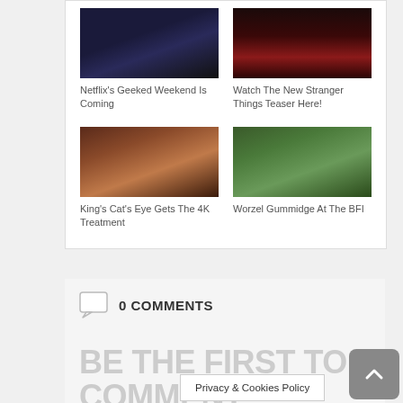[Figure (photo): Netflix Geeked Weekend thumbnail - dark scene with figure]
Netflix's Geeked Weekend Is Coming
[Figure (photo): Stranger Things teaser thumbnail - dark red corridor scene]
Watch The New Stranger Things Teaser Here!
[Figure (photo): Cat's Eye movie thumbnail - woman with cat in vintage setting]
King's Cat's Eye Gets The 4K Treatment
[Figure (photo): Worzel Gummidge at BFI thumbnail - two characters outdoors]
Worzel Gummidge At The BFI
0 COMMENTS
BE THE FIRST TO COMMENT!
Privacy & Cookies Policy